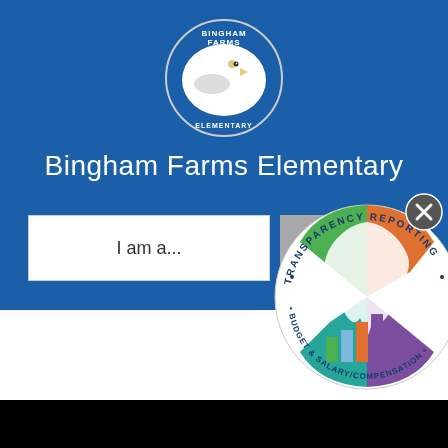[Figure (logo): Bingham Farms Elementary school logo — circular badge with blue background, eagle head graphic, text BINGHAM FARMS ELEMENTARY]
Bingham Farms Elementary
I am a...
[Figure (logo): Michigan Transparency Reporting Budget & Salary/Compensation circular badge with Michigan state map, bar chart graphic, and circular text]
[Figure (other): Close/X button circle]